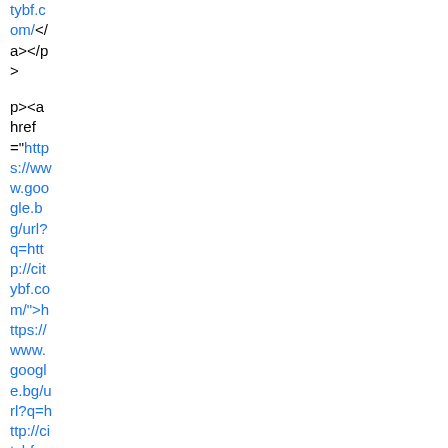tybf.com/</a></p>
p><a href="https://www.google.bg/url?q=http://citybf.com/">https://www.google.bg/url?q=http://citybf.com/</a></p>
p><a href="http